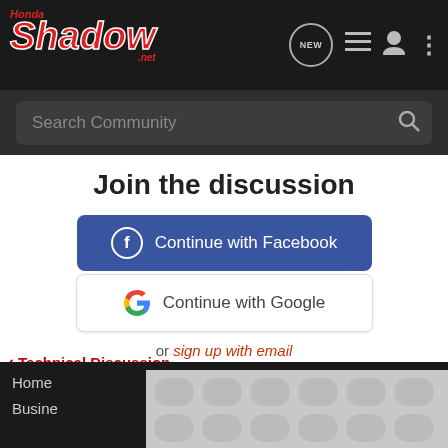HondaShadow.net
Search Community
Join the discussion
Continue with Facebook
Continue with Google
or sign up with email
Technical Discussion
Home
Busine